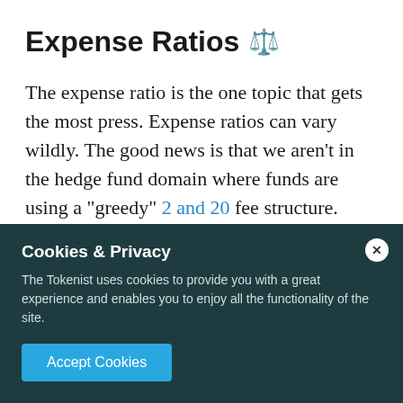Expense Ratios ⚖️
The expense ratio is the one topic that gets the most press. Expense ratios can vary wildly. The good news is that we aren't in the hedge fund domain where funds are using a "greedy" 2 and 20 fee structure. These indexes are going to be a lot lower, often beneath 0.1%. But we may be getting ahead of ourselves here. Why are we even being charged?
Cookies & Privacy
The Tokenist uses cookies to provide you with a great experience and enables you to enjoy all the functionality of the site.